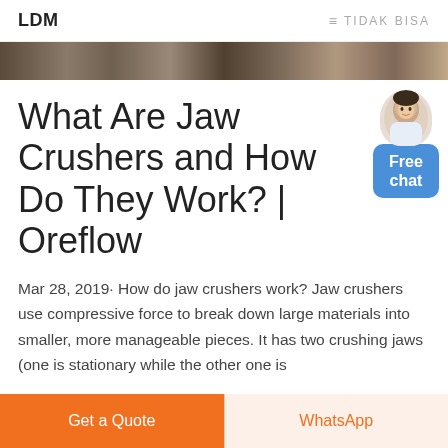LDM    ≡ TIDAK BISA
[Figure (photo): Hero image strip showing industrial/mining equipment scene]
What Are Jaw Crushers and How Do They Work? | Oreflow
Mar 28, 2019· How do jaw crushers work? Jaw crushers use compressive force to break down large materials into smaller, more manageable pieces. It has two crushing jaws (one is stationary while the other one is
[Figure (photo): Customer service avatar with Free chat button widget]
Get a Quote
WhatsApp